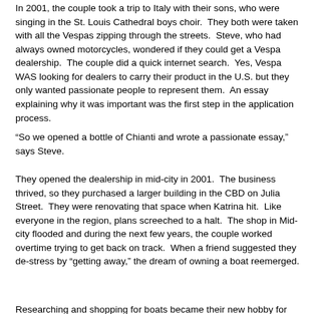In 2001, the couple took a trip to Italy with their sons, who were singing in the St. Louis Cathedral boys choir. They both were taken with all the Vespas zipping through the streets. Steve, who had always owned motorcycles, wondered if they could get a Vespa dealership. The couple did a quick internet search. Yes, Vespa WAS looking for dealers to carry their product in the U.S. but they only wanted passionate people to represent them. An essay explaining why it was important was the first step in the application process.
“So we opened a bottle of Chianti and wrote a passionate essay,” says Steve.
They opened the dealership in mid-city in 2001. The business thrived, so they purchased a larger building in the CBD on Julia Street. They were renovating that space when Katrina hit. Like everyone in the region, plans screeched to a halt. The shop in Mid-city flooded and during the next few years, the couple worked overtime trying to get back on track. When a friend suggested they de-stress by “getting away,” the dream of owning a boat reemerged.
Researching and shopping for boats became their new hobby for the